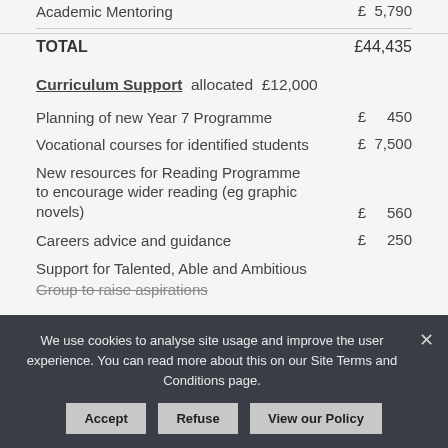| Item | Amount |
| --- | --- |
| Academic Mentoring | £  5,790 |
| TOTAL | £44,435 |
Curriculum Support  allocated  £12,000
| Item | Amount |
| --- | --- |
| Planning of new Year 7 Programme | £      450 |
| Vocational courses for identified students | £  7,500 |
| New resources for Reading Programme to encourage wider reading (eg graphic novels) | £      560 |
| Careers advice and guidance | £      250 |
| Support for Talented, Able and Ambitious Group to raise aspirations |  |
We use cookies to analyse site usage and improve the user experience. You can read more about this on our Site Terms and Conditions page.